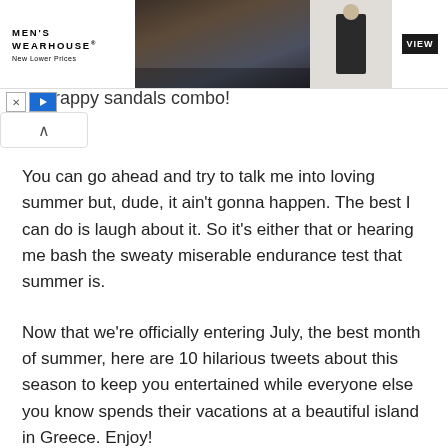[Figure (other): Men's Wearhouse advertisement banner showing couple in formal wear and a child in a suit, with VIEW button]
rappy sandals combo!
You can go ahead and try to talk me into loving summer but, dude, it ain't gonna happen. The best I can do is laugh about it. So it's either that or hearing me bash the sweaty miserable endurance test that summer is.
Now that we're officially entering July, the best month of summer, here are 10 hilarious tweets about this season to keep you entertained while everyone else you know spends their vacations at a beautiful island in Greece. Enjoy!